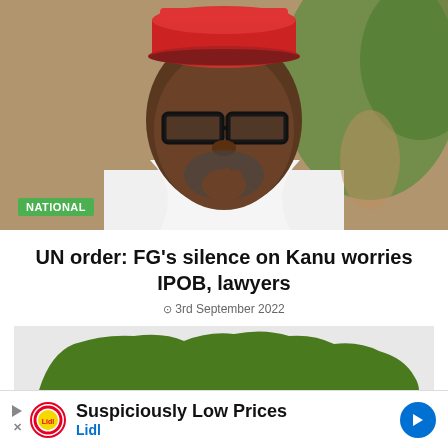[Figure (photo): A man wearing a red traditional cap and thick-framed black glasses, with a white garment around his shoulders, looking thoughtful with hand near chin. Green foliage visible in the background. A green badge reading 'NATIONAL' overlays the lower left of the photo.]
UN order: FG's silence on Kanu worries IPOB, lawyers
3rd September 2022
[Figure (map): Silhouette map of Nigeria in green on a light grey background, partially visible.]
Suspiciously Low Prices
Lidl